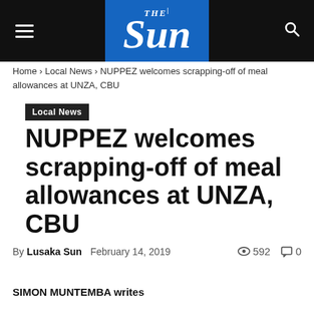THE Sun
Home › Local News › NUPPEZ welcomes scrapping-off of meal allowances at UNZA, CBU
Local News
NUPPEZ welcomes scrapping-off of meal allowances at UNZA, CBU
By Lusaka Sun   February 14, 2019   👁 592   💬 0
SIMON MUNTEMBA writes